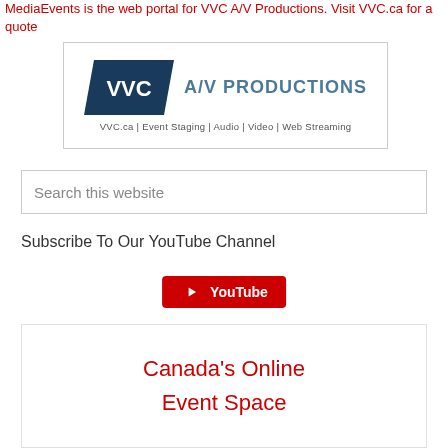MediaEvents is the web portal for VVC A/V Productions. Visit VVC.ca for a quote
[Figure (logo): VVC A/V Productions logo with dark blue parallelogram shape containing 'VVC' text and 'A/V PRODUCTIONS' beside it. Subtitle reads: VVC.ca | Event Staging | Audio | Video | Web Streaming]
Search this website
Subscribe To Our YouTube Channel
[Figure (other): YouTube subscribe button (red button with YouTube play icon and 'YouTube' text)]
Canada's Online Event Space